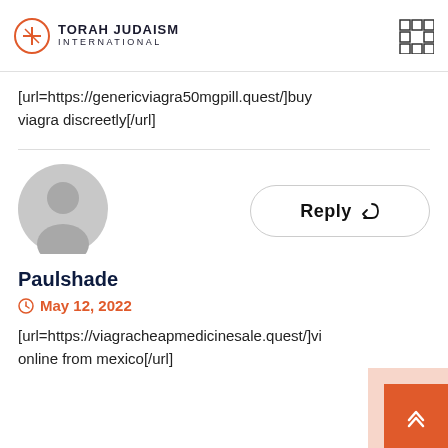Torah Judaism International
[url=https://genericviagra50mgpill.quest/]buy viagra discreetly[/url]
[Figure (illustration): Generic user avatar (grey circle silhouette)]
Reply
Paulshade
May 12, 2022
[url=https://viagracheapmedicinesale.quest/]viagra online from mexico[/url]